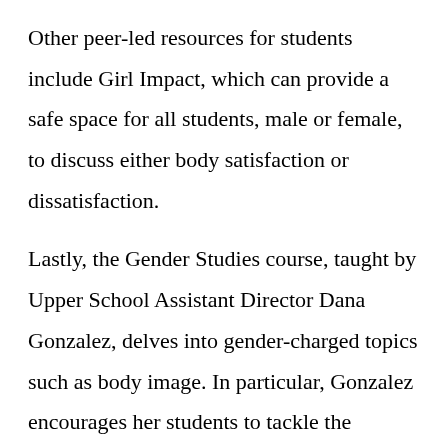Other peer-led resources for students include Girl Impact, which can provide a safe space for all students, male or female, to discuss either body satisfaction or dissatisfaction.
Lastly, the Gender Studies course, taught by Upper School Assistant Director Dana Gonzalez, delves into gender-charged topics such as body image. In particular, Gonzalez encourages her students to tackle the language from the best-selling novel, “The Beauty Myth,” which supports women and young